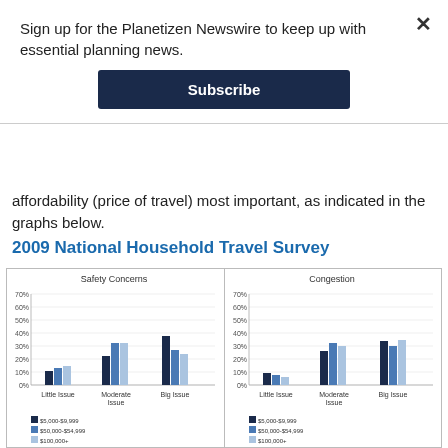Sign up for the Planetizen Newswire to keep up with essential planning news.
Subscribe
affordability (price of travel) most important, as indicated in the graphs below.
2009 National Household Travel Survey
[Figure (grouped-bar-chart): Safety Concerns]
[Figure (grouped-bar-chart): Congestion]
[Figure (grouped-bar-chart): Price of Travel]
[Figure (grouped-bar-chart): Aggressive/Distracted Driving]